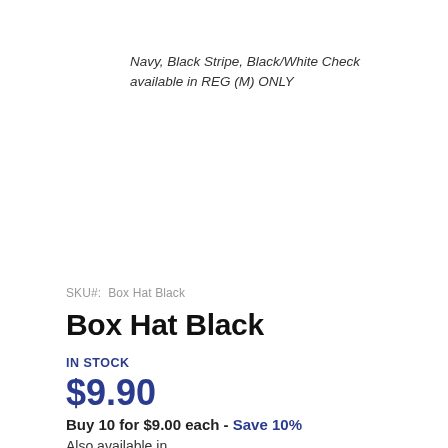Navy, Black Stripe, Black/White Check available in REG (M) ONLY
SKU#:  Box Hat Black
Box Hat Black
IN STOCK
$9.90
Buy 10 for $9.00 each - Save 10%
Also available in